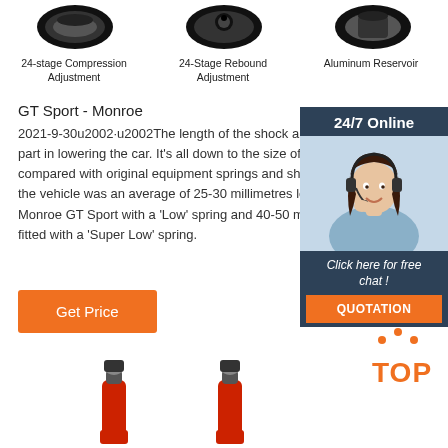[Figure (photo): Three circular product icons: shock absorber adjustment knobs]
24-stage Compression Adjustment
24-Stage Rebound Adjustment
Aluminum Reservoir
GT Sport - Monroe
2021-9-30u2002·u2002The length of the shock absorber plays a key part in lowering the car. It's all down to the size of the unit compared with original equipment springs and shocks. Overall the vehicle was an average of 25-30 millimetres lower with the Monroe GT Sport with a 'Low' spring and 40-50 mil fitted with a 'Super Low' spring.
[Figure (photo): Customer service representative with headset, smiling, with 24/7 Online chat widget]
Click here for free chat !
QUOTATION
Get Price
[Figure (logo): TOP button logo with orange dots]
[Figure (photo): Two red shock absorbers at bottom of page]